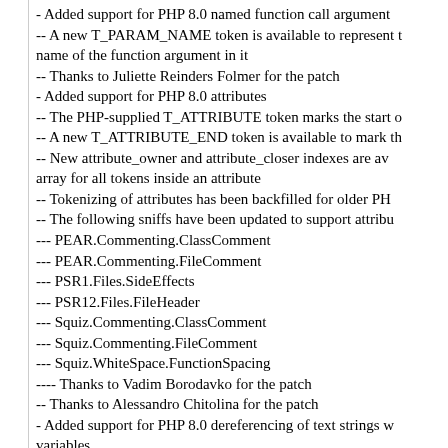- Added support for PHP 8.0 named function call arguments
-- A new T_PARAM_NAME token is available to represent the name of the function argument in it
-- Thanks to Juliette Reinders Folmer for the patch
- Added support for PHP 8.0 attributes
-- The PHP-supplied T_ATTRIBUTE token marks the start of
-- A new T_ATTRIBUTE_END token is available to mark the
-- New attribute_owner and attribute_closer indexes are available in the token array for all tokens inside an attribute
-- Tokenizing of attributes has been backfilled for older PHP
-- The following sniffs have been updated to support attributes
--- PEAR.Commenting.ClassComment
--- PEAR.Commenting.FileComment
--- PSR1.Files.SideEffects
--- PSR12.Files.FileHeader
--- Squiz.Commenting.ClassComment
--- Squiz.Commenting.FileComment
--- Squiz.WhiteSpace.FunctionSpacing
---- Thanks to Vadim Borodavko for the patch
-- Thanks to Alessandro Chitolina for the patch
- Added support for PHP 8.0 dereferencing of text strings with variables
-- Thanks to Juliette Reinders Folmer for the patch
- Added support for PHP 8.0 match expressions
-- Match expressions are now tokenised with parenthesis and closers
--- Sniffs can listen for the T_MATCH token to process match
--- Note that the case and default statements inside match